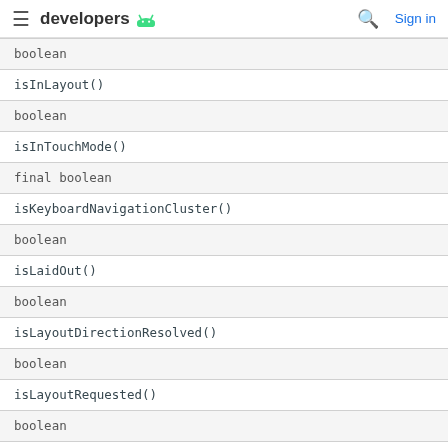developers [android logo] [search icon] Sign in
| boolean |
| isInLayout() |
| boolean |
| isInTouchMode() |
| final boolean |
| isKeyboardNavigationCluster() |
| boolean |
| isLaidOut() |
| boolean |
| isLayoutDirectionResolved() |
| boolean |
| isLayoutRequested() |
| boolean |
| isLongClickable() |